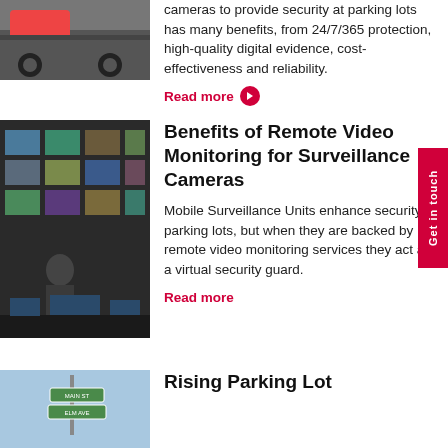[Figure (photo): Partial photo of a vehicle at top left, cropped]
cameras to provide security at parking lots has many benefits, from 24/7/365 protection, high-quality digital evidence, cost-effectiveness and reliability.
Read more →
[Figure (photo): Photo of a security monitoring control room with multiple screens showing camera feeds, a person standing in front]
Benefits of Remote Video Monitoring for Surveillance Cameras
Mobile Surveillance Units enhance security at parking lots, but when they are backed by remote video monitoring services they act as a virtual security guard.
Read more →
[Figure (photo): Partial photo of street signs against a sky background, bottom of page]
Rising Parking Lot